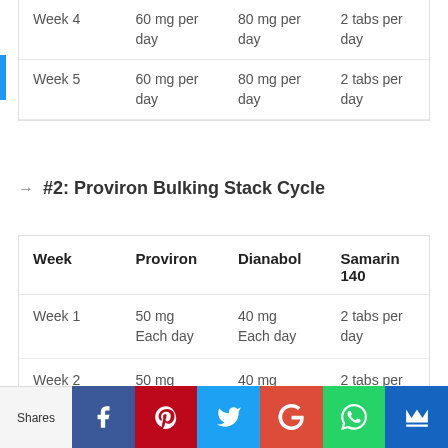| Week | Proviron | Dianabol | Samarin 140 |
| --- | --- | --- | --- |
| Week 4 | 60 mg per day | 80 mg per day | 2 tabs per day |
| Week 5 | 60 mg per day | 80 mg per day | 2 tabs per day |
→ #2: Proviron Bulking Stack Cycle
| Week | Proviron | Dianabol | Samarin 140 |
| --- | --- | --- | --- |
| Week 1 | 50 mg Each day | 40 mg Each day | 2 tabs per day |
| Week 2 | 50 mg Each day | 40 mg Each day | 2 tabs per day |
Shares | Facebook | Pinterest | Twitter | Google+ | WhatsApp | Crown